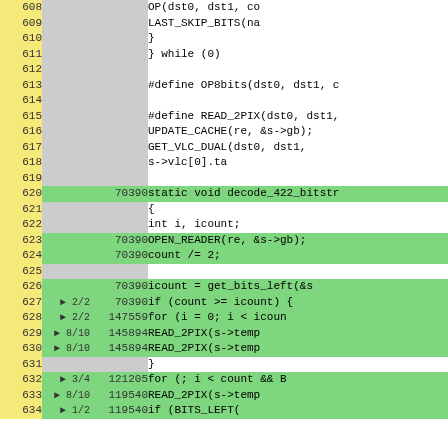| Line | Branch | Count | Code |
| --- | --- | --- | --- |
| 608 |  |  | OP(dst0, dst1, co |
| 609 |  |  | LAST_SKIP_BITS(na |
| 610 |  |  | } |
| 611 |  |  | } while (0) |
| 612 |  |  |  |
| 613 |  |  | #define OP8bits(dst0, dst1, c |
| 614 |  |  |  |
| 615 |  |  | #define READ_2PIX(dst0, dst1, |
| 616 |  |  | UPDATE_CACHE(re, &s->gb); |
| 617 |  |  | GET_VLC_DUAL(dst0, dst1, |
| 618 |  |  | s->vlc[0].ta |
| 619 |  |  |  |
| 620 |  | 70390 | static void decode_422_bitstr |
| 621 |  |  | { |
| 622 |  |  | int i, icount; |
| 623 |  | 70390 | OPEN_READER(re, &s->gb); |
| 624 |  | 70390 | count /= 2; |
| 625 |  |  |  |
| 626 |  | 70390 | icount = get_bits_left(&s |
| 627 | ▶ 2/2 | 70390 | if (count >= icount) { |
| 628 | ▶ 2/2 | 147559 | for (i = 0; i < icoun |
| 629 | ▶ 8/10 | 145894 | READ_2PIX(s->temp |
| 630 | ▶ 8/10 | 145894 | READ_2PIX(s->temp |
| 631 |  |  | } |
| 632 | ▶ 3/4 | 121205 | for (; i < count && B |
| 633 | ▶ 8/10 | 119540 | READ_2PIX(s->temp |
| 634 | ▶ 1/2 | 119540 | if (BITS_LEFT( |